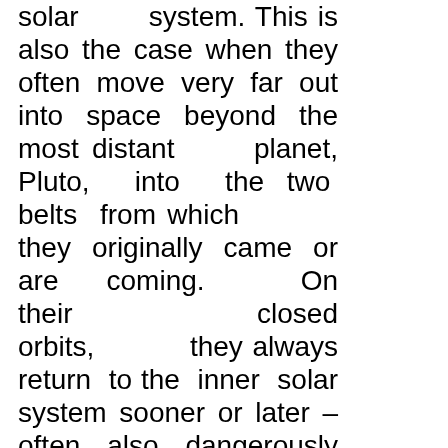solar system. This is also the case when they often move very far out into space beyond the most distant planet, Pluto, into the two belts from which they originally came or are coming. On their closed orbits, they always return to the inner solar system sooner or later – often also dangerously close to Earth – into often also